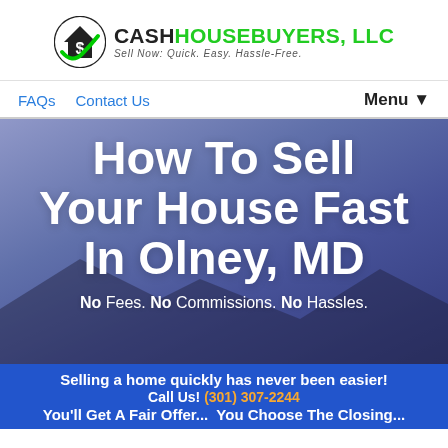[Figure (logo): Cash House Buyers LLC logo with a house/dollar icon and tagline 'Sell Now: Quick. Easy. Hassle-Free.']
FAQs   Contact Us   Menu ▼
How To Sell Your House Fast In Olney, MD
No Fees. No Commissions. No Hassles.
Selling a home quickly has never been easier! Call Us! (301) 307-2244
You'll Get A Fair Offer...  You Choose The Closing...